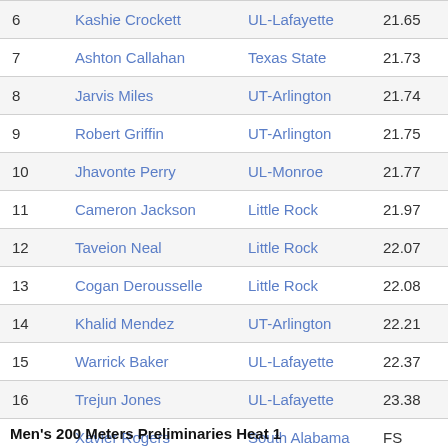|  | Name | School | Time |
| --- | --- | --- | --- |
| 6 | Kashie Crockett | UL-Lafayette | 21.65 |
| 7 | Ashton Callahan | Texas State | 21.73 |
| 8 | Jarvis Miles | UT-Arlington | 21.74 |
| 9 | Robert Griffin | UT-Arlington | 21.75 |
| 10 | Jhavonte Perry | UL-Monroe | 21.77 |
| 11 | Cameron Jackson | Little Rock | 21.97 |
| 12 | Taveion Neal | Little Rock | 22.07 |
| 13 | Cogan Derousselle | Little Rock | 22.08 |
| 14 | Khalid Mendez | UT-Arlington | 22.21 |
| 15 | Warrick Baker | UL-Lafayette | 22.37 |
| 16 | Trejun Jones | UL-Lafayette | 23.38 |
|  | Xavier Rogers | South Alabama | FS |
Men's 200 Meters Preliminaries Heat 1